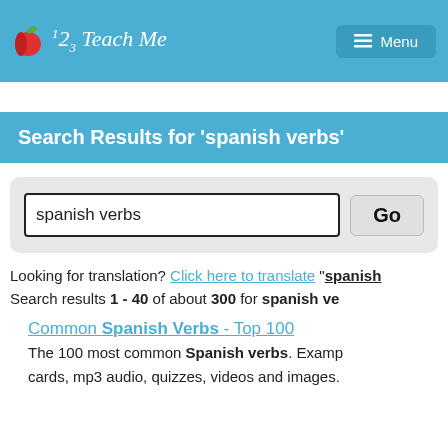[Figure (screenshot): 123 Teach Me website header with logo and menu button]
Search Results for 'spanish verbs'
[Figure (screenshot): Search input box with 'spanish verbs' and Go button]
Looking for translation? Click here to translate "spanish
Search results 1 - 40 of about 300 for spanish ve
Common Spanish Verbs - Top 100
The 100 most common Spanish verbs. Examp cards, mp3 audio, quizzes, videos and images.